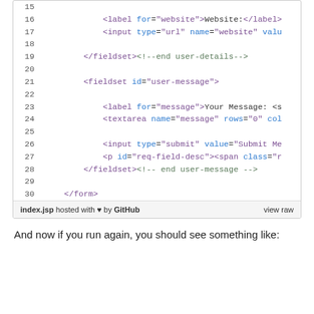[Figure (screenshot): Code block showing HTML form snippet with line numbers 15-30, featuring fieldset, label, input, textarea elements with syntax highlighting. Footer shows 'index.jsp hosted with heart by GitHub' and 'view raw'.]
And now if you run again, you should see something like: